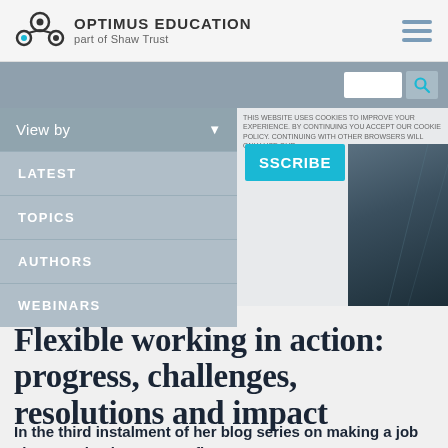OPTIMUS EDUCATION part of Shaw Trust
[Figure (screenshot): Navigation dropdown menu with 'View by' selector showing options: LATEST, TOPICS, AUTHORS, WEBINARS. Right side shows search bar and SUBSCRIBE button with dark image strip.]
Flexible working in action: progress, challenges, resolutions and impact
In the third instalment of her blog series on making a job share work, Liz Murray reflects on